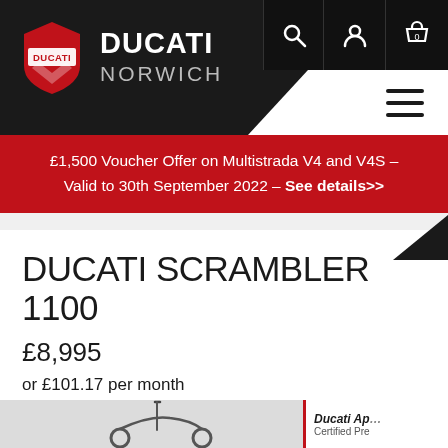DUCATI NORWICH
£1,500 Voucher Offer on Multistrada V4 and V4S – Valid to 30th September 2022 – See details>>
DUCATI SCRAMBLER 1100
£8,995
or £101.17 per month
[Figure (photo): Ducati Scrambler 1100 motorcycle with Ducati Approved Certified Pre-owned badge visible]